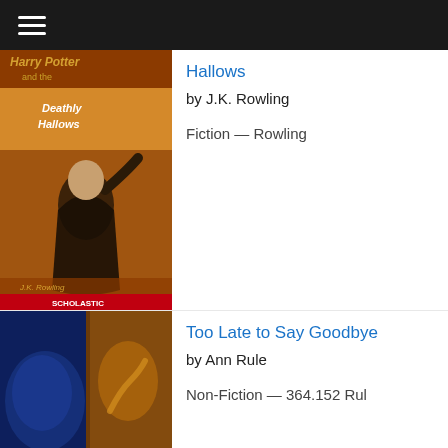Navigation menu header bar
[Figure (illustration): Harry Potter and the Deathly Hallows book cover showing a figure with raised arm against orange/fire background, Scholastic publisher]
Hallows
by J.K. Rowling
Fiction — Rowling
[Figure (illustration): Too Late to Say Goodbye book cover showing a woman's face in blue tones and another figure in yellow/orange, subtitle: A True Story of Murder and Betrayal, by Ann Rule, Bestselling Author of Every Breath You Take]
Too Late to Say Goodbye
by Ann Rule
Non-Fiction — 364.152 Rul
[Figure (illustration): Divisadero book cover, dark background with title text]
Divisadero